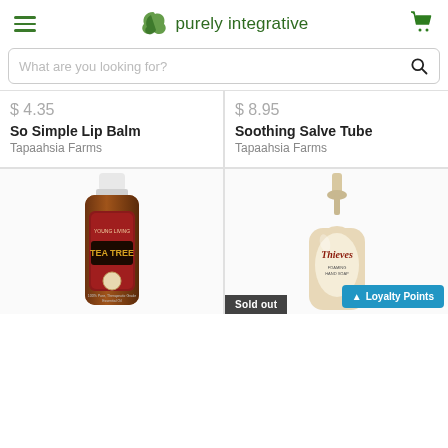purely integrative
What are you looking for?
$ 4.35
So Simple Lip Balm
Tapaahsia Farms
$ 8.95
Soothing Salve Tube
Tapaahsia Farms
[Figure (photo): Young Living Tea Tree essential oil bottle]
[Figure (photo): Thieves foaming hand soap pump bottle with Sold out badge]
Loyalty Points